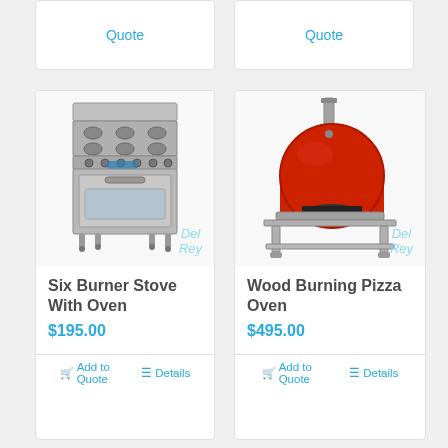Quote
Quote
[Figure (photo): Six Burner Stove With Oven - stainless steel commercial range with six burners and oven below, watermark 'Del Rey']
Six Burner Stove With Oven
$195.00
Add to Quote
Details
[Figure (photo): Wood Burning Pizza Oven - red dome oven on stainless steel stand with chimney pipe, watermark 'Del Rey']
Wood Burning Pizza Oven
$495.00
Add to Quote
Details